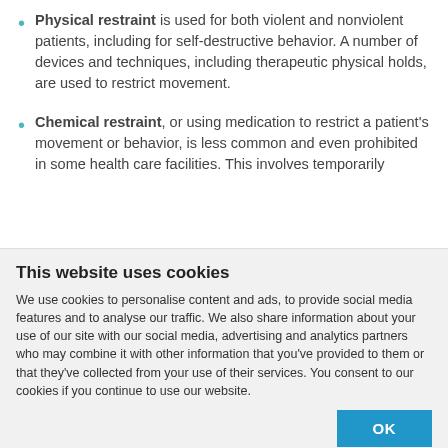Physical restraint is used for both violent and nonviolent patients, including for self-destructive behavior. A number of devices and techniques, including therapeutic physical holds, are used to restrict movement.
Chemical restraint, or using medication to restrict a patient's movement or behavior, is less common and even prohibited in some health care facilities. This involves temporarily
This website uses cookies
We use cookies to personalise content and ads, to provide social media features and to analyse our traffic. We also share information about your use of our site with our social media, advertising and analytics partners who may combine it with other information that you've provided to them or that they've collected from your use of their services. You consent to our cookies if you continue to use our website.